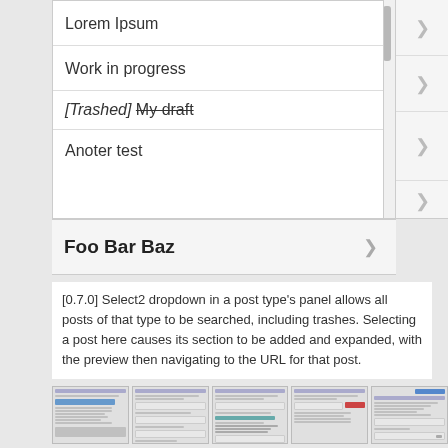[Figure (screenshot): Dropdown list showing post items: Lorem Ipsum, Work in progress, [Trashed] My draft (struck through), Anoter test, and Foo Bar Baz (bold, below list). Each row has a right-chevron arrow. A scrollbar is visible on the right side of the list.]
[0.7.0] Select2 dropdown in a post type's panel allows all posts of that type to be searched, including trashes. Selecting a post here causes its section to be added and expanded, with the preview then navigating to the URL for that post.
[Figure (screenshot): Strip of 5 small thumbnail screenshots showing various WordPress customizer panel states.]